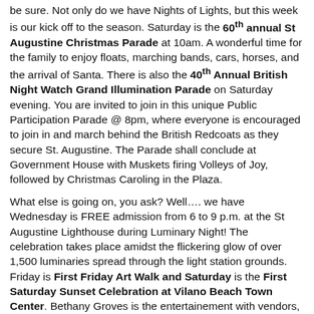be sure. Not only do we have Nights of Lights, but this week is our kick off to the season. Saturday is the 60th annual St Augustine Christmas Parade at 10am. A wonderful time for the family to enjoy floats, marching bands, cars, horses, and the arrival of Santa. There is also the 40th Annual British Night Watch Grand Illumination Parade on Saturday evening. You are invited to join in this unique Public Participation Parade @ 8pm, where everyone is encouraged to join in and march behind the British Redcoats as they secure St. Augustine. The Parade shall conclude at Government House with Muskets firing Volleys of Joy, followed by Christmas Caroling in the Plaza.
What else is going on, you ask? Well…. we have Wednesday is FREE admission from 6 to 9 p.m. at the St Augustine Lighthouse during Luminary Night! The celebration takes place amidst the flickering glow of over 1,500 luminaries spread through the light station grounds. Friday is First Friday Art Walk and Saturday is the First Saturday Sunset Celebration at Vilano Beach Town Center. Bethany Groves is the entertainement with vendors,